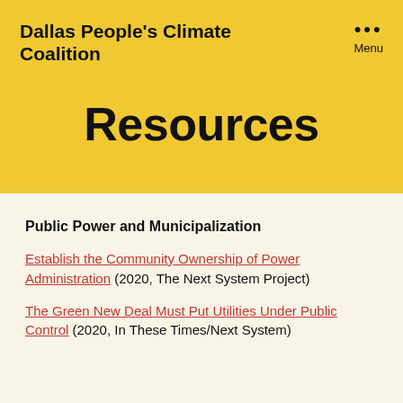Dallas People's Climate Coalition
Resources
Public Power and Municipalization
Establish the Community Ownership of Power Administration (2020, The Next System Project)
The Green New Deal Must Put Utilities Under Public Control (2020, In These Times/Next System)